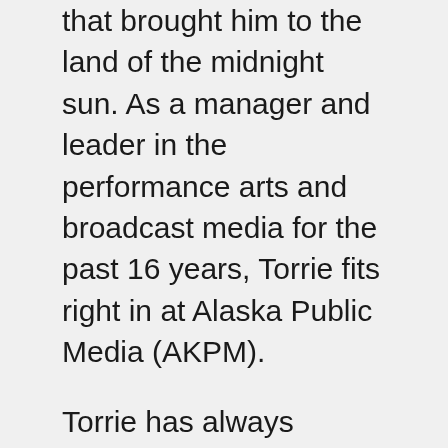that brought him to the land of the midnight sun. As a manager and leader in the performance arts and broadcast media for the past 16 years, Torrie fits right in at Alaska Public Media (AKPM).
Torrie has always known that he would follow his heart and dedicate his life to the performing arts and broadcast media. His career started when he spent 20 years studying with leading voice teachers and vocal coaches, under legendary conductors such as Lyndon Woodside. Woodside harnessed Torrie's talented singing voice, which landed Torrie at venues at Carnegie